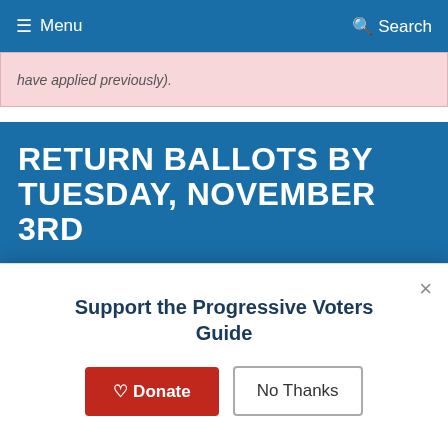≡ Menu   Q Search
have applied previously).
RETURN BALLOTS BY TUESDAY, NOVEMBER 3RD
The Michigan Progressive Voters Guide compiles the information that allows you to make informed decisions about races on your ballot, based on your values. You can vote early now through Monday, November 2nd at 4:00 p.m. at your local clerk's office if you're registered at your current address
Support the Progressive Voters Guide
♡ Donate
No Thanks